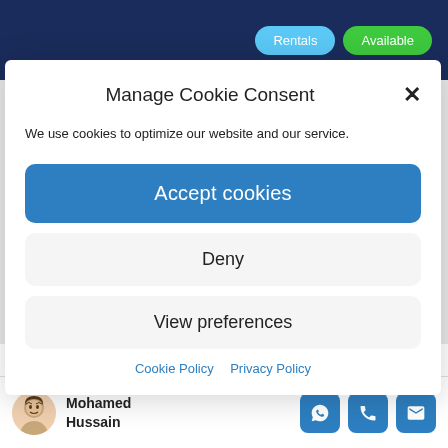[Figure (screenshot): Dark navy header bar with 'Rentals' (light blue rounded button) and 'Available' (green rounded button) on the right side]
Manage Cookie Consent
We use cookies to optimize our website and our service.
Accept cookies
Deny
View preferences
Cookie Policy   Privacy Policy
Mohamed Hussain